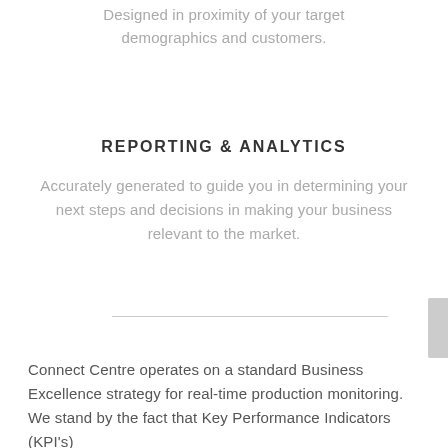Designed in proximity of your target demographics and customers.
REPORTING & ANALYTICS
Accurately generated to guide you in determining your next steps and decisions in making your business relevant to the market.
Connect Centre operates on a standard Business Excellence strategy for real-time production monitoring. We stand by the fact that Key Performance Indicators (KPI's)